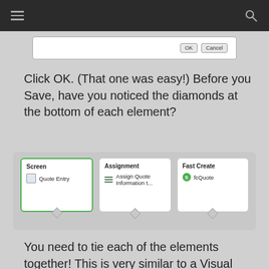[Figure (screenshot): Top navigation bar with hamburger menu and search icon, and a dialog snippet with OK and Cancel buttons]
Click OK. (That one was easy!)  Before you Save, have you noticed the diamonds at the bottom of each element?
[Figure (screenshot): Flow diagram showing three elements: Screen (Quote Entry) with green border, Assignment (Assign Quote Information t...), and Fast Create (fcQuote), each with a diamond connector at the bottom]
You need to tie each of the elements together!  This is very similar to a Visual Process or Flow Chart.  Simply click the diamond below the Screen element and drag to the Assignment element.  Then click the Assignment